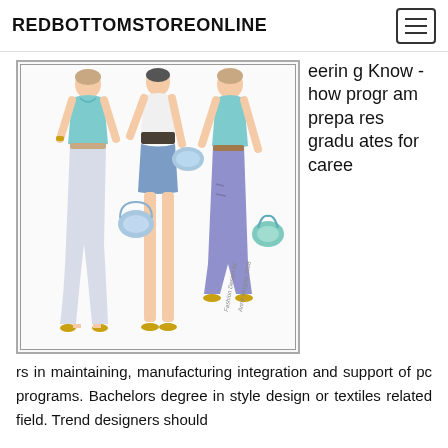REDBOTTOMSTOREONLINE
[Figure (illustration): Fashion illustration showing three women in casual denim outfits — one in white flared jeans and teal top, one in denim mini skirt and white top with belt, one in purple cropped jeans and teal top. Each carries a small handbag. Gold shoes. Signed 'Fashion Design by Anne Morgan 2008'.]
eering Know-how program prepares graduates for careers in maintaining, manufacturing integration and support of pc programs. Bachelors degree in style design or textiles related field. Trend designers should